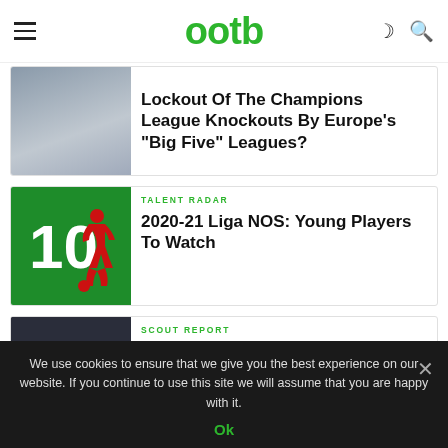ootb
[Figure (screenshot): Partially visible article card with snowy/winter image thumbnail]
Lockout Of The Champions League Knockouts By Europe's "Big Five" Leagues?
[Figure (logo): Green square with number 10 and red silhouette of a soccer player — Talent Radar section icon]
TALENT RADAR
2020-21 Liga NOS: Young Players To Watch
[Figure (photo): Soccer players in blue and white Argentina jerseys on a field]
SCOUT REPORT
Scout Report: Agustin Urzi | Banfield And Argentina Winger
We use cookies to ensure that we give you the best experience on our website. If you continue to use this site we will assume that you are happy with it.
Ok